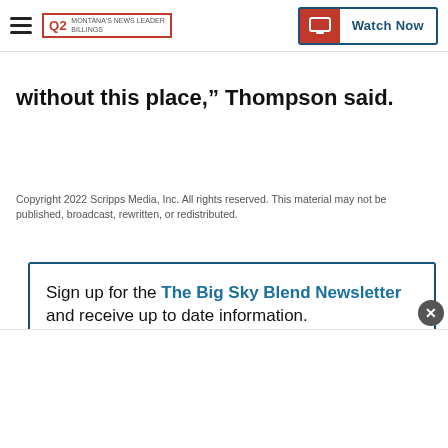Q2 MONTANA'S NEWS LEADER | Watch Now
without this place,” Thompson said.
Copyright 2022 Scripps Media, Inc. All rights reserved. This material may not be published, broadcast, rewritten, or redistributed.
Sign up for the The Big Sky Blend Newsletter and receive up to date information.
E-mail
Submit